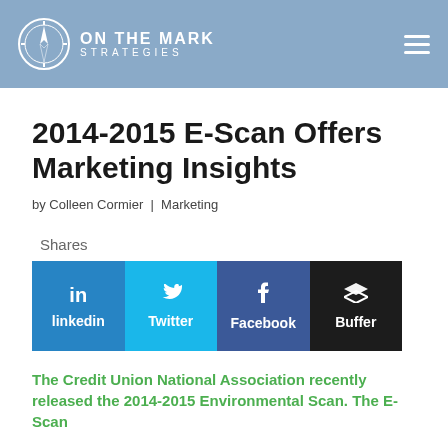ON THE MARK STRATEGIES
2014-2015 E-Scan Offers Marketing Insights
by Colleen Cormier | Marketing
Shares
[Figure (infographic): Social share buttons: LinkedIn (blue), Twitter (cyan), Facebook (dark blue), Buffer (black)]
The Credit Union National Association recently released the 2014-2015 Environmental Scan. The E-Scan